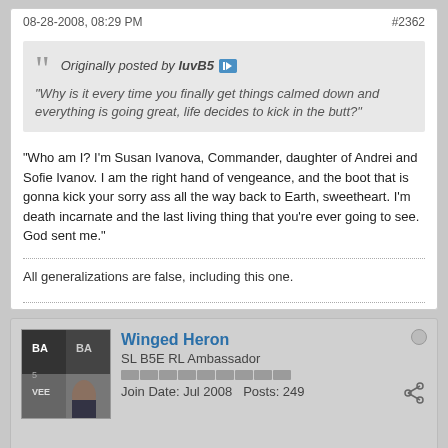08-28-2008, 08:29 PM   #2362
Originally posted by luvB5
"Why is it every time you finally get things calmed down and everything is going great, life decides to kick in the butt?"
"Who am I? I'm Susan Ivanova, Commander, daughter of Andrei and Sofie Ivanov. I am the right hand of vengeance, and the boot that is gonna kick your sorry ass all the way back to Earth, sweetheart. I'm death incarnate and the last living thing that you're ever going to see. God sent me."
All generalizations are false, including this one.
Winged Heron
SL B5E RL Ambassador
Join Date: Jul 2008   Posts: 249
08-28-2008, 09:58 PM   #2363